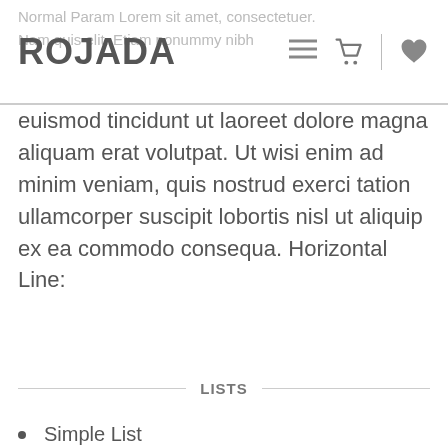ROJADA | Normal Param Lorem sit amet, consectetuer. Nam quis elit. Etiam nonummy nibh
euismod tincidunt ut laoreet dolore magna aliquam erat volutpat. Ut wisi enim ad minim veniam, quis nostrud exerci tation ullamcorper suscipit lobortis nisl ut aliquip ex ea commodo consequa. Horizontal Line:
LISTS
Simple List
List item 1
List Item 2